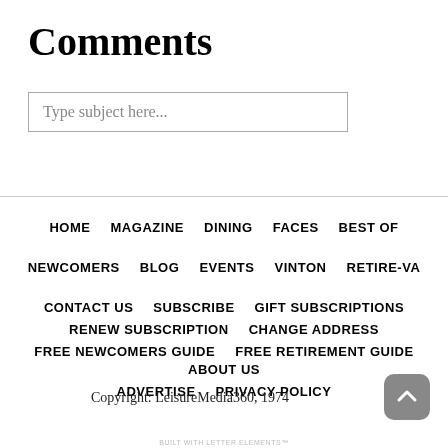Comments
Type subject here...
HOME   MAGAZINE   DINING   FACES   BEST OF
NEWCOMERS   BLOG   EVENTS   VINTON   RETIRE-VA
CONTACT US   SUBSCRIBE   GIFT SUBSCRIPTIONS   RENEW SUBSCRIPTION   CHANGE ADDRESS   FREE NEWCOMERS GUIDE   FREE RETIREMENT GUIDE   ABOUT US   ADVERTISE   PRIVACY POLICY
Copyright: LeisureMedia360, 1974